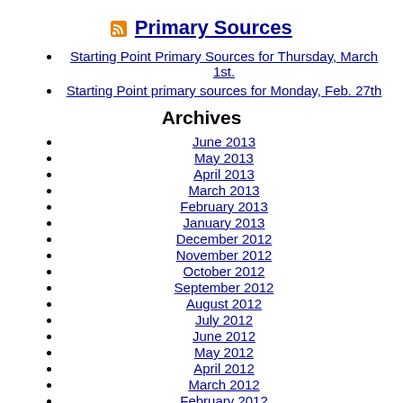Primary Sources
Starting Point Primary Sources for Thursday, March 1st.
Starting Point primary sources for Monday, Feb. 27th
Archives
June 2013
May 2013
April 2013
March 2013
February 2013
January 2013
December 2012
November 2012
October 2012
September 2012
August 2012
July 2012
June 2012
May 2012
April 2012
March 2012
February 2012